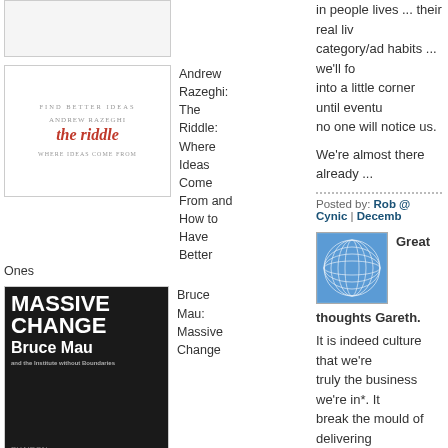[Figure (illustration): Book cover placeholder at top left (partially visible)]
[Figure (illustration): Book cover of 'The Riddle' by Andrew Razeghi with circular text and red italic title]
Andrew Razeghi: The Riddle: Where Ideas Come From and How to Have Better Ones
[Figure (illustration): Avatar/profile image - blue geometric sphere pattern on white background]
Great thoughts Gareth.
It is indeed culture that we're truly the business we're in*. It break the mould of delivering clients, and moving towards a process of discovery together
Solving business challenges solution has both cultural and difficult and it means that far us strategists need to be on b
* great quote rukallstar.
in people lives ... their real li category/ad habits ... we'll fo into a little corner until event no one will notice us.
We're almost there already ...
Posted by: Rob @ Cynic | Decemb
[Figure (illustration): Book cover of 'Massive Change' by Bruce Mau, dark background with bold white text]
Bruce Mau: Massive Change
[Figure (illustration): Book cover of Charlene Li book, yellow-green background]
Charlene Li:
Posted by: Jim Antonopoulos | De